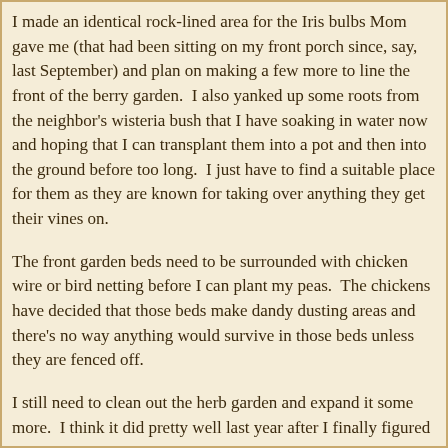I made an identical rock-lined area for the Iris bulbs Mom gave me (that had been sitting on my front porch since, say, last September) and plan on making a few more to line the front of the berry garden.  I also yanked up some roots from the neighbor's wisteria bush that I have soaking in water now and hoping that I can transplant them into a pot and then into the ground before too long.  I just have to find a suitable place for them as they are known for taking over anything they get their vines on.
The front garden beds need to be surrounded with chicken wire or bird netting before I can plant my peas.  The chickens have decided that those beds make dandy dusting areas and there's no way anything would survive in those beds unless they are fenced off.
I still need to clean out the herb garden and expand it some more.  I think it did pretty well last year after I finally figured out how to chicken-proof the plants growing there.  The yarrow is coming back on it's own as is the oregano and I think even the sage and chocolate mint plants made it through the winter.  I'm planning on putting a variety or two